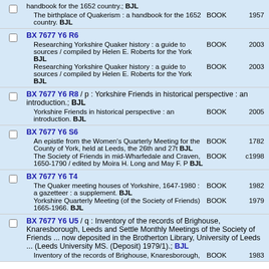handbook for the 1652 country.; BJL — The birthplace of Quakerism : a handbook for the 1652 country. BJL — BOOK — 1957
BX 7677 Y6 R6 — Researching Yorkshire Quaker history : a guide to sources / compiled by Helen E. Roberts for the York BJL — BOOK — 2003 — Researching Yorkshire Quaker history : a guide to sources / compiled by Helen E. Roberts for the York BJL — BOOK — 2003
BX 7677 Y6 R8 / p : Yorkshire Friends in historical perspective : an introduction.; BJL — Yorkshire Friends in historical perspective : an introduction. BJL — BOOK — 2005
BX 7677 Y6 S6 — An epistle from the Women's Quarterly Meeting for the County of York, held at Leeds, the 26th and 27t BJL — BOOK — 1782 — The Society of Friends in mid-Wharfedale and Craven, 1650-1790 / edited by Moira H. Long and May F. P BJL — BOOK — c1998
BX 7677 Y6 T4 — The Quaker meeting houses of Yorkshire, 1647-1980 : a gazetteer : a supplement. BJL — BOOK — 1982 — Yorkshire Quarterly Meeting (of the Society of Friends) 1665-1966. BJL — BOOK — 1979
BX 7677 Y6 U5 / q : Inventory of the records of Brighouse, Knaresborough, Leeds and Settle Monthly Meetings of the Society of Friends ... now deposited in the Brotherton Library, University of Leeds ... (Leeds University MS. (Deposit) 1979/1).; BJL — Inventory of the records of Brighouse, Knaresborough, — BOOK — 1983